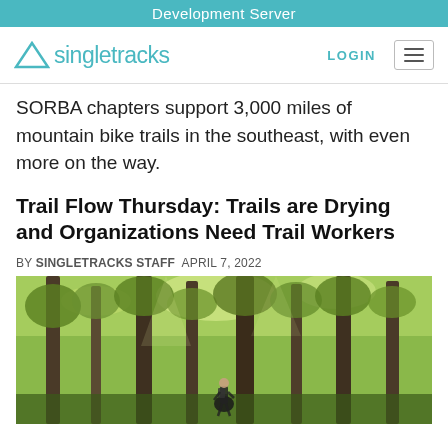Development Server
[Figure (logo): Singletracks logo with triangle mountain icon and teal text]
SORBA chapters support 3,000 miles of mountain bike trails in the southeast, with even more on the way.
Trail Flow Thursday: Trails are Drying and Organizations Need Trail Workers
BY SINGLETRACKS STAFF  APRIL 7, 2022
[Figure (photo): Photo of a person among tall trees in a green forest, looking up at the canopy]